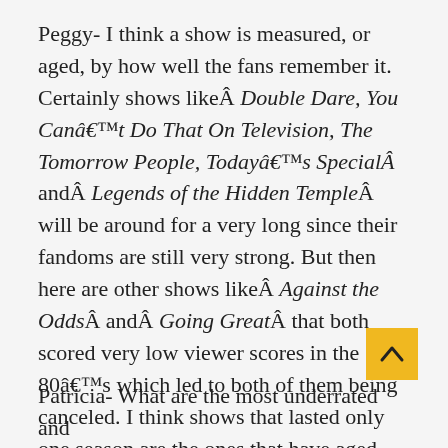Peggy- I think a show is measured, or aged, by how well the fans remember it. Certainly shows likeÂ Double Dare, You Canâ€™t Do That On Television, The Tomorrow People, Todayâ€™s SpecialÂ andÂ Legends of the Hidden TempleÂ will be around for a very long since their fandoms are still very strong. But then here are other shows likeÂ Against the OddsÂ andÂ Going GreatÂ that both scored very low viewer scores in the 80â€™s which led to both of them being canceled. I think shows that lasted only one season are the ones that have aged poorly.
Patricia- What are the most underrated and